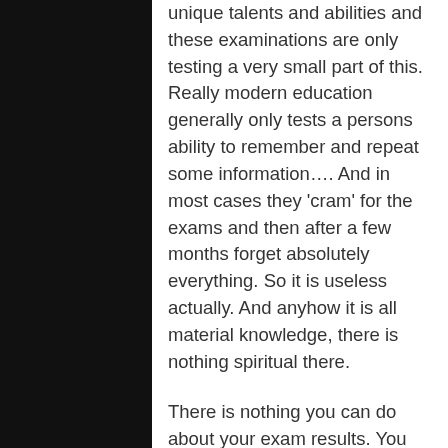unique talents and abilities and these examinations are only testing a very small part of this. Really modern education generally only tests a persons ability to remember and repeat some information…. And in most cases they 'cram' for the exams and then after a few months forget absolutely everything. So it is useless actually. And anyhow it is all material knowledge, there is nothing spiritual there.
There is nothing you can do about your exam results. You obviously tried your best and that is all you can do. We should not take these things very seriously. Our real business is serving Krishna, devotional service. That we have to take seriously. Other things are only important if they